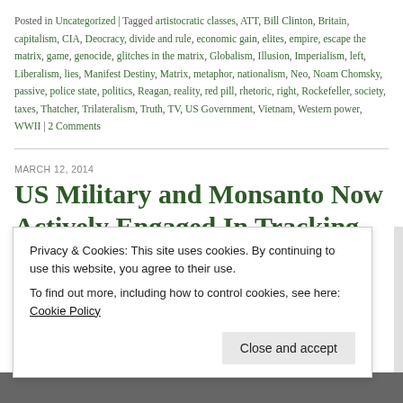Posted in Uncategorized | Tagged artistocratic classes, ATT, Bill Clinton, Britain, capitalism, CIA, Deocracy, divide and rule, economic gain, elites, empire, escape the matrix, game, genocide, glitches in the matrix, Globalism, Illusion, Imperialism, left, Liberalism, lies, Manifest Destiny, Matrix, metaphor, nationalism, Neo, Noam Chomsky, passive, police state, politics, Reagan, reality, red pill, rhetoric, right, Rockefeller, society, taxes, Thatcher, Trilateralism, Truth, TV, US Government, Vietnam, Western power, WWII | 2 Comments
MARCH 12, 2014
US Military and Monsanto Now Actively Engaged In Tracking Anti-GMO Activists Around...
Privacy & Cookies: This site uses cookies. By continuing to use this website, you agree to their use.
To find out more, including how to control cookies, see here: Cookie Policy
Close and accept